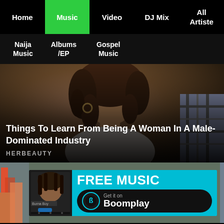Home | Music | Video | DJ Mix | All Artiste
Naija Music | Albums /EP | Gospel Music
[Figure (photo): Woman with curly hair leaning forward in a casual setting, male figure to the right in plaid shirt]
Things To Learn From Being A Woman In A Male-Dominated Industry
HERBEAUTY
[Figure (screenshot): Boomplay app advertisement banner: FREE MUSIC - Get it on Boomplay, showing Burna Boy on phone screen]